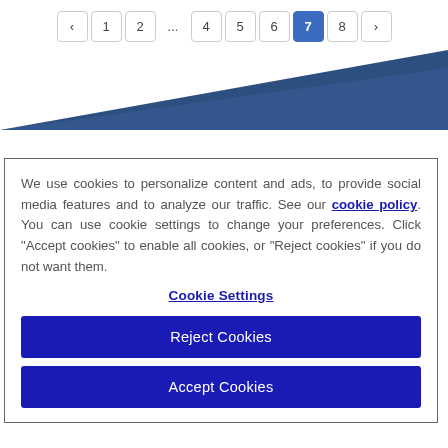« 1 2 ... 4 5 6 7 8 »
[Figure (illustration): Diagonal dark blue triangular banner/graphic element]
We use cookies to personalize content and ads, to provide social media features and to analyze our traffic. See our cookie policy. You can use cookie settings to change your preferences. Click "Accept cookies" to enable all cookies, or "Reject cookies" if you do not want them.
Cookie Settings
Reject Cookies
Accept Cookies